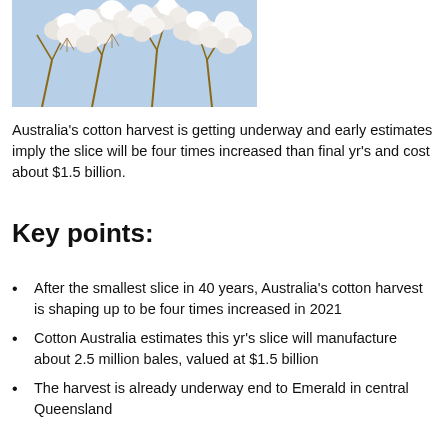[Figure (photo): Close-up photo of cotton bolls on branches against a light blue sky background]
Australia's cotton harvest is getting underway and early estimates imply the slice will be four times increased than final yr's and cost about $1.5 billion.
Key points:
After the smallest slice in 40 years, Australia's cotton harvest is shaping up to be four times increased in 2021
Cotton Australia estimates this yr's slice will manufacture about 2.5 million bales, valued at $1.5 billion
The harvest is already underway end to Emerald in central Queensland